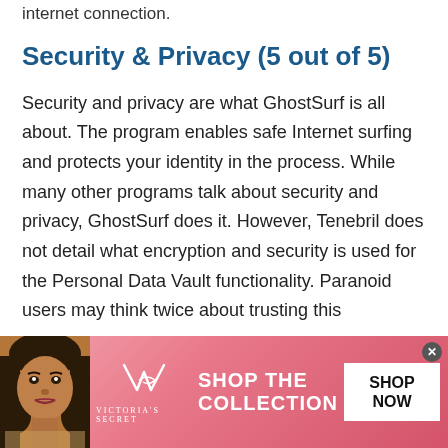internet connection.
Security & Privacy (5 out of 5)
Security and privacy are what GhostSurf is all about. The program enables safe Internet surfing and protects your identity in the process. While many other programs talk about security and privacy, GhostSurf does it. However, Tenebril does not detail what encryption and security is used for the Personal Data Vault functionality. Paranoid users may think twice about trusting this
[Figure (photo): Victoria's Secret advertisement banner with a model, Victoria's Secret logo, 'SHOP THE COLLECTION' text, and a 'SHOP NOW' button on a pink/red gradient background]